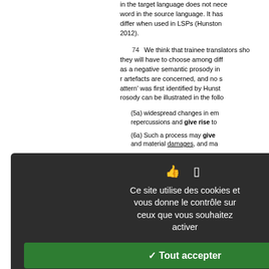in the target language does not necessarily correspond word for word to a word in the source language. It has been shown that collocational preferences differ when used in LSPs (Hunston 2012).
74  We think that trainee translators should be aware that they will have to choose among different translations which may function as a negative semantic prosody in the target language when cultural artefacts are concerned, and no such 'pattern' was first identified by Hunston. The prosody can be illustrated in the following examples:
(5a) widespread changes in environment causing repercussions and give rise to...
(6a) Such a process may give rise to physical and material damages, and may...
(7a) the relatively planar topog...
(8a) Such a phylogenetic distribution of nacre throughout the geological...
(9a) however, it appears unable...
(10a) which, upon addition of h... vesicles
Ce site utilise des cookies et vous donne le contrôle sur ceux que vous souhaitez activer
✓ Tout accepter
✗ Tout refuser
Personnaliser
Politique de confidentialité